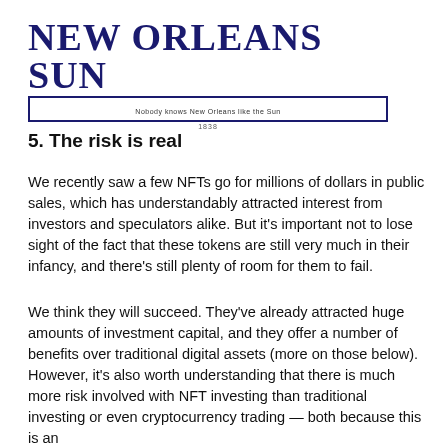NEW ORLEANS SUN — Nobody knows New Orleans like the Sun — 1838
5. The risk is real
We recently saw a few NFTs go for millions of dollars in public sales, which has understandably attracted interest from investors and speculators alike. But it's important not to lose sight of the fact that these tokens are still very much in their infancy, and there's still plenty of room for them to fail.
We think they will succeed. They've already attracted huge amounts of investment capital, and they offer a number of benefits over traditional digital assets (more on those below). However, it's also worth understanding that there is much more risk involved with NFT investing than traditional investing or even cryptocurrency trading — both because this is an